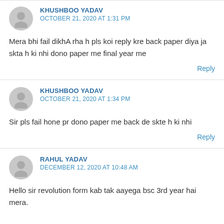KHUSHBOO YADAV
OCTOBER 21, 2020 AT 1:31 PM
Mera bhi fail dikhA rha h pls koi reply kre back paper diya ja skta h ki nhi dono paper me final year me
Reply
KHUSHBOO YADAV
OCTOBER 21, 2020 AT 1:34 PM
Sir pls fail hone pr dono paper me back de skte h ki nhi
Reply
RAHUL YADAV
DECEMBER 12, 2020 AT 10:48 AM
Hello sir revolution form kab tak aayega bsc 3rd year hai mera.